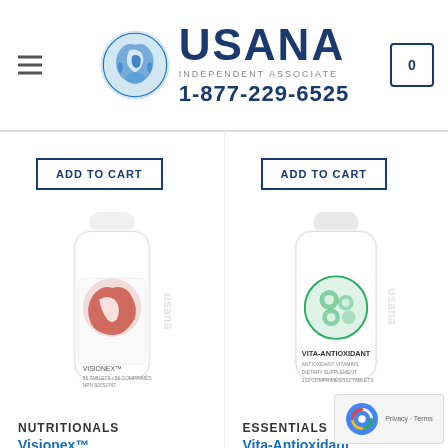USANA INDEPENDENT ASSOCIATE 1-877-229-6525
ADD TO CART
ADD TO CART
[Figure (photo): USANA Visionex product bottle with red USANA globe logo]
[Figure (photo): USANA Vita-Antioxidant product bottle with green USANA globe logo]
NUTRITIONALS
Visionex™
$48,35  $43,95
ESSENTIALS
Vita-Antioxidant
$56,05  $50,95